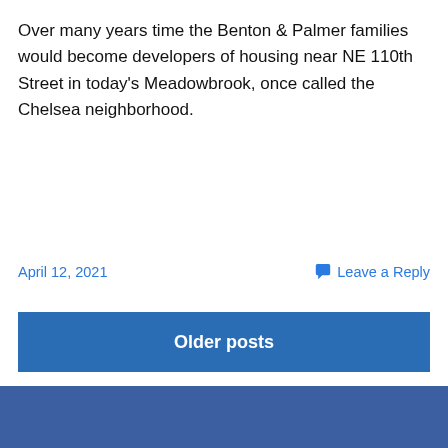Over many years time the Benton & Palmer families would become developers of housing near NE 110th Street in today's Meadowbrook, once called the Chelsea neighborhood.
Continue reading →
April 12, 2021
Leave a Reply
Older posts